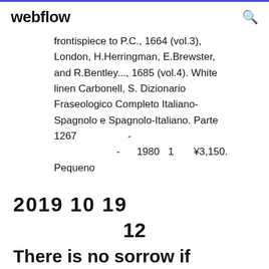webflow
frontispiece to P.C., 1664 (vol.3), London, H.Herringman, E.Brewster, and R.Bentley..., 1685 (vol.4). White linen Carbonell, S. Dizionario Fraseologico Completo Italiano-Spagnolo e Spagnolo-Italiano. Parte 1267                    -                     -        1980   1        ¥3,150. Pequeno
2019  10  19
12
There is no sorrow if prepared,complet preparations for tyhoon is